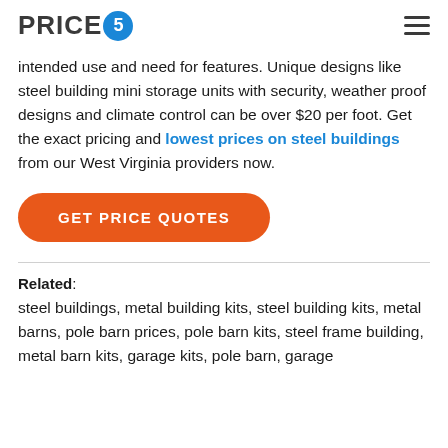PRICE5
intended use and need for features. Unique designs like steel building mini storage units with security, weather proof designs and climate control can be over $20 per foot. Get the exact pricing and lowest prices on steel buildings from our West Virginia providers now.
[Figure (other): Orange rounded CTA button with text GET PRICE QUOTES]
Related: steel buildings, metal building kits, steel building kits, metal barns, pole barn prices, pole barn kits, steel frame building, metal barn kits, garage kits, pole barn, garage